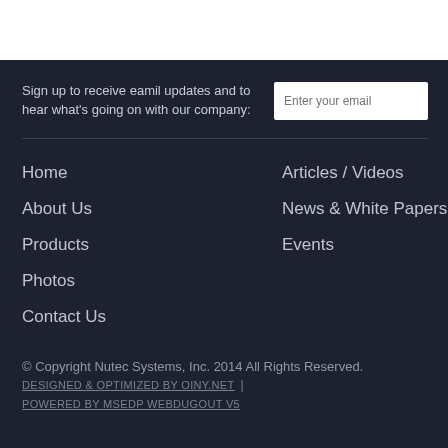Sign up to receive eamil updates and to hear what's going on with our company:
Home
About Us
Products
Photos
Contact Us
Articles / Videos
News & White Papers
Events
© Copyright Nutec Systems, Inc. 2014 All Rights Reserved. DESIGNED & OPTIMIZED BY OINY.NET | POWERED BY MSEDP WEBDUGOUT V5